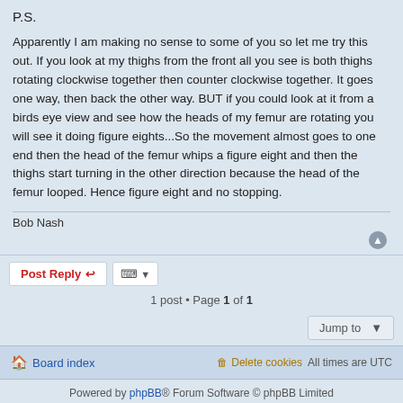P.S.
Apparently I am making no sense to some of you so let me try this out. If you look at my thighs from the front all you see is both thighs rotating clockwise together then counter clockwise together. It goes one way, then back the other way. BUT if you could look at it from a birds eye view and see how the heads of my femur are rotating you will see it doing figure eights...So the movement almost goes to one end then the head of the femur whips a figure eight and then the thighs start turning in the other direction because the head of the femur looped. Hence figure eight and no stopping.
Bob Nash
1 post • Page 1 of 1
Powered by phpBB® Forum Software © phpBB Limited
Privacy | Terms